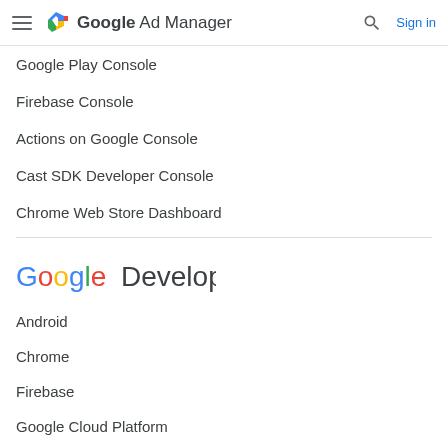Google Ad Manager — Sign in
Google Play Console
Firebase Console
Actions on Google Console
Cast SDK Developer Console
Chrome Web Store Dashboard
[Figure (logo): Google Developers logo with Google in multicolor and Developers in gray]
Android
Chrome
Firebase
Google Cloud Platform
All products